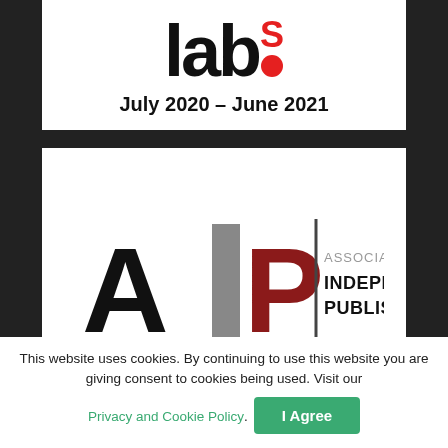[Figure (logo): labs logo with red dot, text 'July 2020 – June 2021' below]
[Figure (logo): AIP Association of Independent Publishers logo]
This website uses cookies. By continuing to use this website you are giving consent to cookies being used. Visit our Privacy and Cookie Policy. I Agree